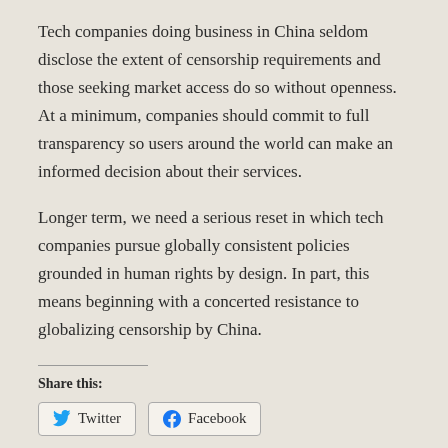Tech companies doing business in China seldom disclose the extent of censorship requirements and those seeking market access do so without openness. At a minimum, companies should commit to full transparency so users around the world can make an informed decision about their services.
Longer term, we need a serious reset in which tech companies pursue globally consistent policies grounded in human rights by design. In part, this means beginning with a concerted resistance to globalizing censorship by China.
Share this:
[Figure (other): Share buttons for Twitter and Facebook social media platforms, and a Like button]